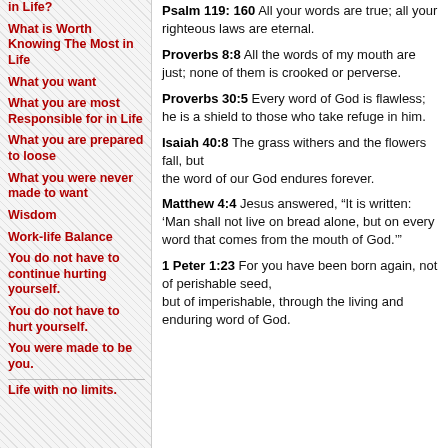in Life?
What is Worth Knowing The Most in Life
What you want
What you are most Responsible for in Life
What you are prepared to loose
What you were never made to want
Wisdom
Work-life Balance
You do not have to continue hurting yourself.
You do not have to hurt yourself.
You were made to be you.
Life with no limits.
Psalm 119: 160 All your words are true; all your righteous laws are eternal.
Proverbs 8:8 All the words of my mouth are just; none of them is crooked or perverse.
Proverbs 30:5 Every word of God is flawless; he is a shield to those who take refuge in him.
Isaiah 40:8 The grass withers and the flowers fall, but the word of our God endures forever.
Matthew 4:4 Jesus answered, “It is written: ‘Man shall not live on bread alone, but on every word that comes from the mouth of God.’”
1 Peter 1:23 For you have been born again, not of perishable seed, but of imperishable, through the living and enduring word of God.